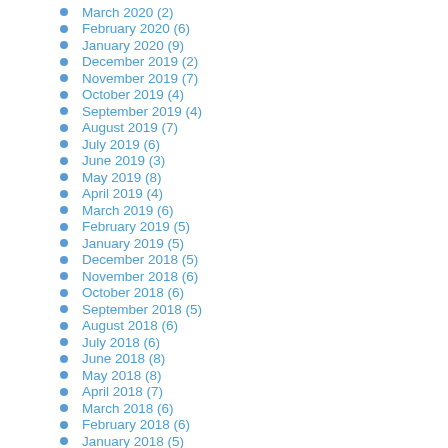March 2020 (2)
February 2020 (6)
January 2020 (9)
December 2019 (2)
November 2019 (7)
October 2019 (4)
September 2019 (4)
August 2019 (7)
July 2019 (6)
June 2019 (3)
May 2019 (8)
April 2019 (4)
March 2019 (6)
February 2019 (5)
January 2019 (5)
December 2018 (5)
November 2018 (6)
October 2018 (6)
September 2018 (5)
August 2018 (6)
July 2018 (6)
June 2018 (8)
May 2018 (8)
April 2018 (7)
March 2018 (6)
February 2018 (6)
January 2018 (5)